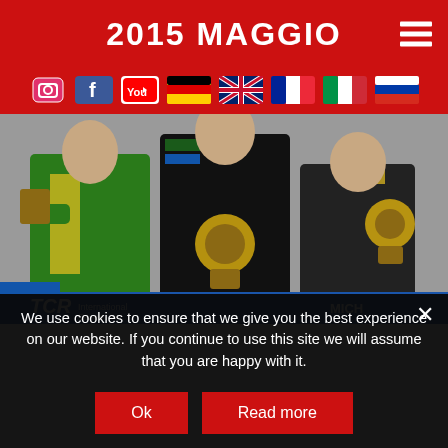2015 MAGGIO
[Figure (screenshot): Social media icons: Instagram, Facebook, YouTube, and flag icons for Germany, UK, France, Italy, Russia]
[Figure (photo): Three racing drivers in race suits standing on podium holding trophies. Left driver in green and yellow suit, center driver in black suit holding large gear-shaped trophy, right driver in black suit holding smaller trophy. TCR International Series banner visible in background with Michelin branding.]
We use cookies to ensure that we give you the best experience on our website. If you continue to use this site we will assume that you are happy with it.
Ok
Read more